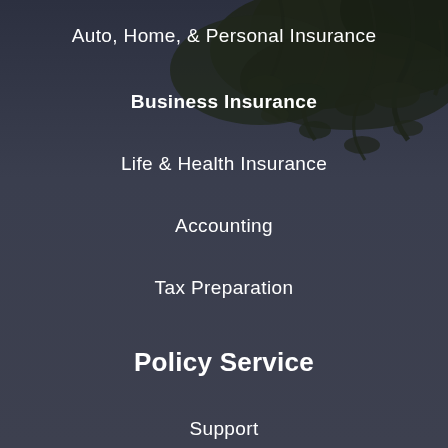[Figure (photo): Dark moody background with tree branches (pine/cypress foliage) visible in the upper portion against a dark grey-blue sky]
Auto, Home, & Personal Insurance
Business Insurance
Life & Health Insurance
Accounting
Tax Preparation
Policy Service
Support